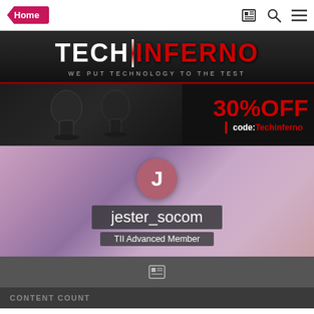Home
[Figure (logo): TechInferno logo with tagline 'We Put Technology To The Test' on dark background with red accent]
[Figure (photo): Advertisement banner: gaming chairs on dark background with '30% OFF code: Techinferno' in red and white text]
[Figure (photo): User profile section with purple geometric background, avatar circle with letter J, username jester_socom, and role TII Advanced Member]
[Figure (screenshot): Dark gray icon bar with a document/ID card icon]
CONTENT COUNT